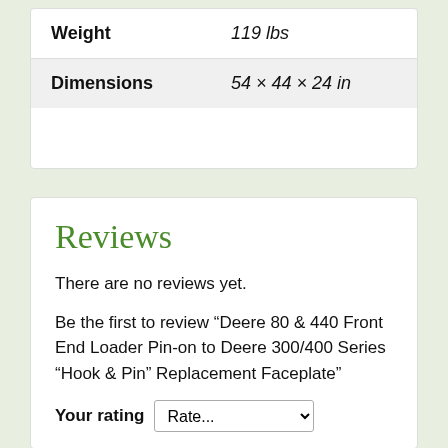| Attribute | Value |
| --- | --- |
| Weight | 119 lbs |
| Dimensions | 54 × 44 × 24 in |
Reviews
There are no reviews yet.
Be the first to review “Deere 80 & 440 Front End Loader Pin-on to Deere 300/400 Series “Hook & Pin” Replacement Faceplate”
Your rating  Rate...